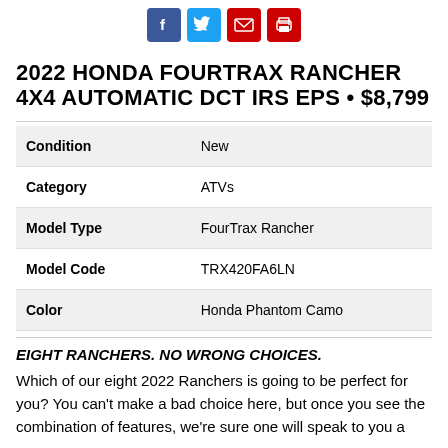[Figure (other): Social sharing icons: Facebook (blue), Twitter (light blue), Email (red), Print (red)]
2022 HONDA FOURTRAX RANCHER 4X4 AUTOMATIC DCT IRS EPS • $8,799
| Condition | New |
| Category | ATVs |
| Model Type | FourTrax Rancher |
| Model Code | TRX420FA6LN |
| Color | Honda Phantom Camo |
EIGHT RANCHERS. NO WRONG CHOICES.
Which of our eight 2022 Ranchers is going to be perfect for you? You can't make a bad choice here, but once you see the combination of features, we're sure one will speak to you a